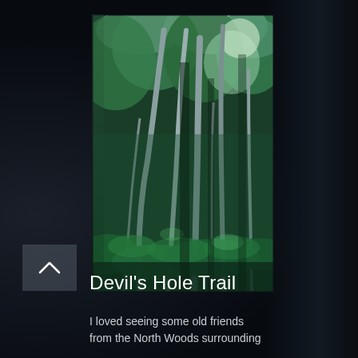[Figure (photo): A vertical photograph of a forest trail scene showing tall slender trees with grey-white bark, dense green fern undergrowth, and dappled sunlight filtering through the tree canopy. The forest has a lush, humid North Woods character.]
Devil's Hole Trail
I loved seeing some old friends from the North Woods surrounding